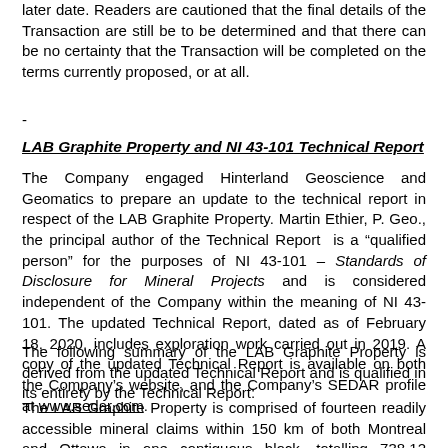later date. Readers are cautioned that the final details of the Transaction are still be to be determined and that there can be no certainty that the Transaction will be completed on the terms currently proposed, or at all.
-
LAB Graphite Property and NI 43-101 Technical Report
The Company engaged Hinterland Geoscience and Geomatics to prepare an update to the technical report in respect of the LAB Graphite Property. Martin Ethier, P. Geo., the principal author of the Technical Report is a “qualified person” for the purposes of NI 43-101 – Standards of Disclosure for Mineral Projects and is considered independent of the Company within the meaning of NI 43-101. The updated Technical Report, dated as of February 18, 2020, includes exploration work carried out in 2019. A copy of the updated Technical Report is available on both the Company's website, and the Company's SEDAR profile at www.sedar.com.
The following summary of the LAB Graphite Property is derived from the updated Technical Report and is qualified in its entirety by the Technical Report:
The LAB Graphite Property is comprised of fourteen readily accessible mineral claims within 150 km of both Montreal and Ottawa in one contiguous block, totalling 738.12 hectares of land